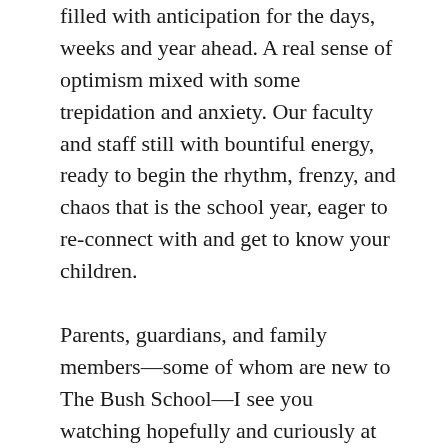filled with anticipation for the days, weeks and year ahead. A real sense of optimism mixed with some trepidation and anxiety. Our faculty and staff still with bountiful energy, ready to begin the rhythm, frenzy, and chaos that is the school year, eager to re-connect with and get to know your children.
Parents, guardians, and family members—some of whom are new to The Bush School—I see you watching hopefully and curiously at the group gathered here, some with tears poised to fall as they imagine saying good-bye for to their child.
I didn't say whether those were tears of